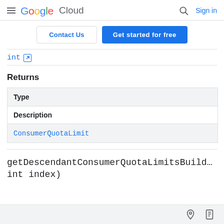Google Cloud — Sign in
Contact Us | Get started for free
int [external link]
Returns
| Type |
| --- |
| Description |
| ConsumerQuotaLimit |
getDescendantConsumerQuotaLimitsBuild... int index)